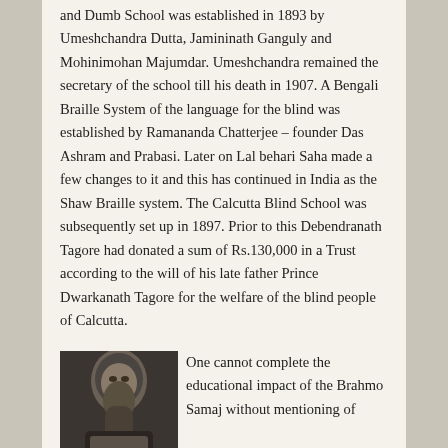and Dumb School was established in 1893 by Umeshchandra Dutta, Jamininath Ganguly and Mohinimohan Majumdar. Umeshchandra remained the secretary of the school till his death in 1907. A Bengali Braille System of the language for the blind was established by Ramananda Chatterjee – founder Das Ashram and Prabasi. Later on Lal behari Saha made a few changes to it and this has continued in India as the Shaw Braille system. The Calcutta Blind School was subsequently set up in 1897. Prior to this Debendranath Tagore had donated a sum of Rs.130,000 in a Trust according to the will of his late father Prince Dwarkanath Tagore for the welfare of the blind people of Calcutta.
[Figure (photo): Black and white portrait photograph of a bearded elderly man, likely Rabindranath Tagore]
One cannot complete the educational impact of the Brahmo Samaj without mentioning of Rabindranath T...
[Figure (photo): Color photograph of a building with orange/terracotta roof and trees, likely an ashram or school building]